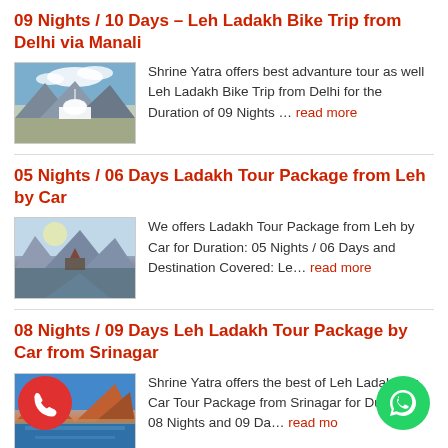09 Nights / 10 Days – Leh Ladakh Bike Trip from Delhi via Manali
[Figure (photo): Buddhist stupa with mountains and clouds in background, Leh Ladakh]
Shrine Yatra offers best advanture tour as well Leh Ladakh Bike Trip from Delhi for the Duration of 09 Nights … read more
05 Nights / 06 Days Ladakh Tour Package from Leh by Car
[Figure (photo): Mountain landscape with water reflection, Ladakh by Car]
We offers Ladakh Tour Package from Leh by Car for Duration: 05 Nights / 06 Days and Destination Covered: Le… read more
08 Nights / 09 Days Leh Ladakh Tour Package by Car from Srinagar
[Figure (photo): Pangong Lake with blue water and red mountains, Leh Ladakh from Srinagar]
Shrine Yatra offers the best of Leh Ladakh by Car Tour Package from Srinagar for Duration: 08 Nights and 09 Da… read more